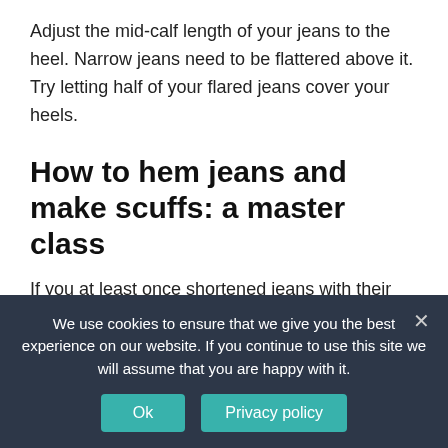Adjust the mid-calf length of your jeans to the heel. Narrow jeans need to be flattered above it. Try letting half of your flared jeans cover your heels.
How to hem jeans and make scuffs: a master class
If you at least once shortened jeans with their own hands, you probably faced this problem: the finished seam because of the lack of scuffing looks flat. There are different ways to avoid this: for example, you can hem your jeans keeping the factory seam, or try using some abrasive material like emery cloth. The way described in
We use cookies to ensure that we give you the best experience on our website. If you continue to use this site we will assume that you are happy with it.